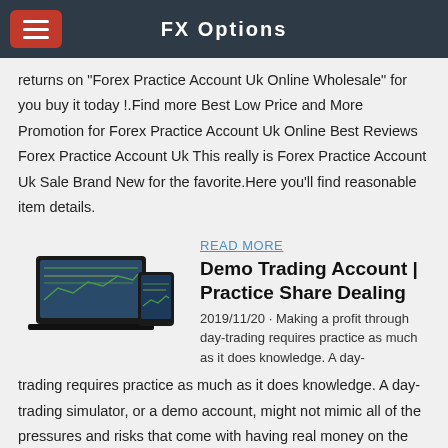FX Options
returns on "Forex Practice Account Uk Online Wholesale" for you buy it today !.Find more Best Low Price and More Promotion for Forex Practice Account Uk Online Best Reviews Forex Practice Account Uk This really is Forex Practice Account Uk Sale Brand New for the favorite.Here you'll find reasonable item details.
[Figure (illustration): Laptop and mobile device showing trading charts]
READ MORE
Demo Trading Account | Practice Share Dealing
2019/11/20 · Making a profit through day-trading requires practice as much as it does knowledge. A day-trading simulator, or a demo account, might not mimic all of the pressures and risks that come with having real money on the line, but it can still be valuable for learning and honing trading strategies.